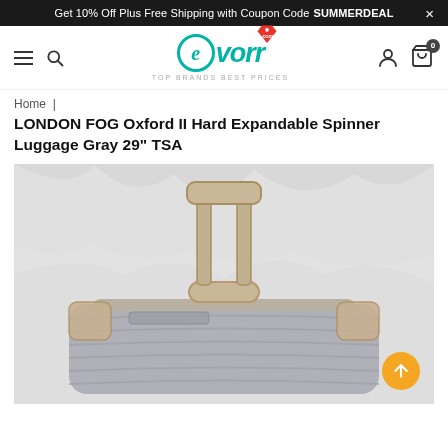Get 10% Off Plus Free Shipping with Coupon Code SUMMERDEAL
[Figure (logo): Evorr.com logo with teal circular e, italic teal text 'evorr', red price-tag icon, and tagline 'TOP BRANDS BEST PRICES']
Home | LONDON FOG Oxford II Hard Expandable Spinner Luggage Gray 29" TSA
LONDON FOG Oxford II Hard Expandable Spinner Luggage Gray 29" TSA
[Figure (photo): Gray hard-shell spinner luggage (London Fog Oxford II) with extended telescoping handle and tan/gold corner protectors, photographed against a white fabric background, viewed from the top/front angle]